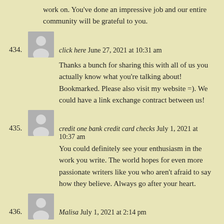work on. You've done an impressive job and our entire community will be grateful to you.
434. click here June 27, 2021 at 10:31 am
Thanks a bunch for sharing this with all of us you actually know what you're talking about! Bookmarked. Please also visit my website =). We could have a link exchange contract between us!
435. credit one bank credit card checks July 1, 2021 at 10:37 am
You could definitely see your enthusiasm in the work you write. The world hopes for even more passionate writers like you who aren't afraid to say how they believe. Always go after your heart.
436. Malisa July 1, 2021 at 2:14 pm
My partner and I absolutely love your blog and find the majority of your post's to be just what I'm looking for. Does one offer guest writers to write content for you? I wouldn't mind producing a post or elaborating on a lot of the subjects you write with regards to